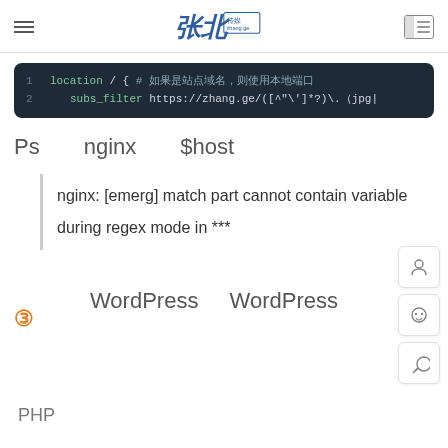zhang.ge site header with logo and navigation icons
[Figure (screenshot): Code block showing nginx config: line 1: location / { # Chinese characters, line 2: subs_filter https://zhang.ge/([^"\']*.?)\.(jpg...]
Ps   nginx   $host
nginx: [emerg] match part cannot contain variable during regex mode in ***
③
WordPress   WordPress
PHP